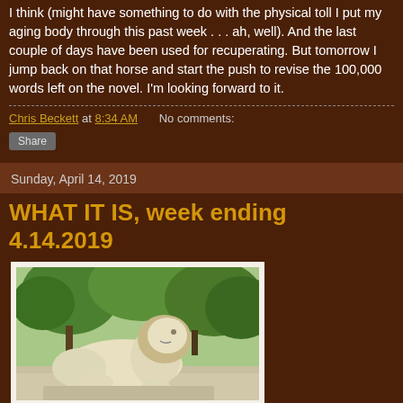I think (might have something to do with the physical toll I put my aging body through this past week . . . ah, well). And the last couple of days have been used for recuperating. But tomorrow I jump back on that horse and start the push to revise the 100,000 words left on the novel. I'm looking forward to it.
Chris Beckett at 8:34 AM   No comments:
Share
Sunday, April 14, 2019
WHAT IT IS, week ending 4.14.2019
[Figure (photo): Photo of a white marble lion sculpture in front of trees]